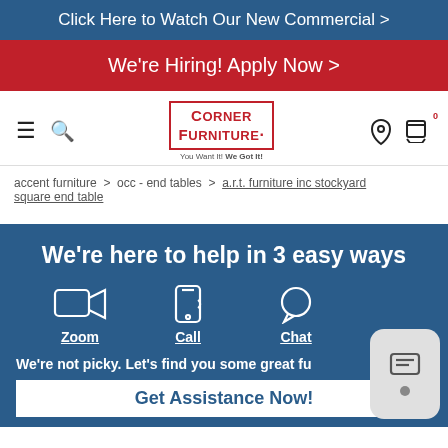Click Here to Watch Our New Commercial >
We're Hiring! Apply Now >
[Figure (logo): Corner Furniture logo with tagline 'You Want It! We Got It!']
accent furniture > occ - end tables > a.r.t. furniture inc stockyard square end table
We're here to help in 3 easy ways
[Figure (infographic): Three icons: Zoom (video camera), Call (phone), Chat (speech bubble)]
We're not picky. Let's find you some great fu
Get Assistance Now!